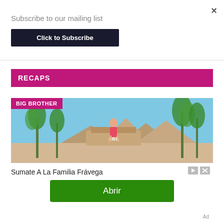×
Subscribe to our mailing list
Click to Subscribe
RECAPS
[Figure (photo): Big Brother promotional image: woman in floral dress sitting on CBS building sign, palm trees and mountains in background. BIG BROTHER label in magenta top-left.]
Sumate A La Familia Frávega
Abrir
Ad